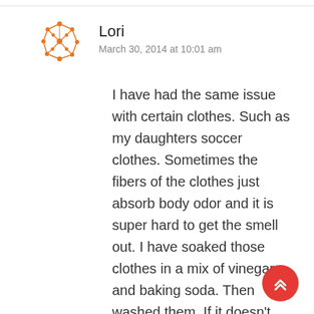[Figure (illustration): Orange decorative avatar icon made of small dots and connecting lines forming an abstract figure]
Lori
March 30, 2014 at 10:01 am
I have had the same issue with certain clothes. Such as my daughters soccer clothes. Sometimes the fibers of the clothes just absorb body odor and it is super hard to get the smell out. I have soaked those clothes in a mix of vinegar and baking soda. Then washed them. If it doesn't come out I just replace those clothes. It's frustrating but the new types of fibers of clothes meant to wick away sweat from the body really hold onto the smell. It is not